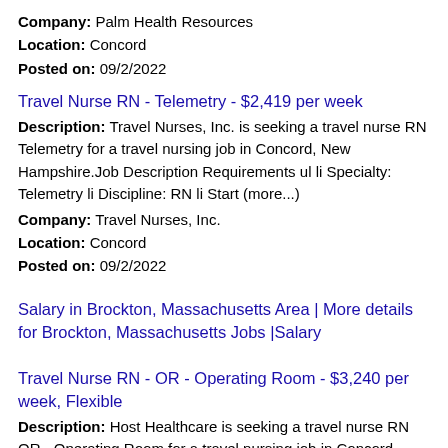Company: Palm Health Resources
Location: Concord
Posted on: 09/2/2022
Travel Nurse RN - Telemetry - $2,419 per week
Description: Travel Nurses, Inc. is seeking a travel nurse RN Telemetry for a travel nursing job in Concord, New Hampshire.Job Description Requirements ul li Specialty: Telemetry li Discipline: RN li Start (more...)
Company: Travel Nurses, Inc.
Location: Concord
Posted on: 09/2/2022
Salary in Brockton, Massachusetts Area | More details for Brockton, Massachusetts Jobs |Salary
Travel Nurse RN - OR - Operating Room - $3,240 per week, Flexible
Description: Host Healthcare is seeking a travel nurse RN OR - Operating Room for a travel nursing job in Concord, New Hampshire.Job Description Requirements ul li Specialty: OR - Operating Room li Discipline: (more...)
Company: Host Healthcare
Location: Concord